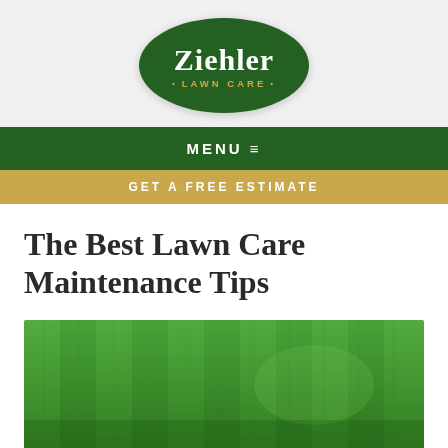[Figure (logo): Ziehler Lawn Care logo — dark green oval with white serif text 'Ziehler' and gold spaced text '• LAWN CARE •']
MENU ≡
GET A FREE ESTIMATE
The Best Lawn Care Maintenance Tips
[Figure (photo): Close-up photo of a lush, healthy green lawn with mowed grass texture]